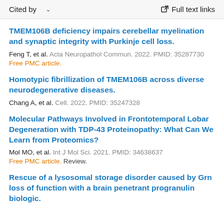Cited by   Full text links
TMEM106B deficiency impairs cerebellar myelination and synaptic integrity with Purkinje cell loss.
Feng T, et al. Acta Neuropathol Commun. 2022. PMID: 35287730
Free PMC article.
Homotypic fibrillization of TMEM106B across diverse neurodegenerative diseases.
Chang A, et al. Cell. 2022. PMID: 35247328
Molecular Pathways Involved in Frontotemporal Lobar Degeneration with TDP-43 Proteinopathy: What Can We Learn from Proteomics?
Mol MO, et al. Int J Mol Sci. 2021. PMID: 34638637
Free PMC article. Review.
Rescue of a lysosomal storage disorder caused by Grn loss of function with a brain penetrant progranulin biologic.